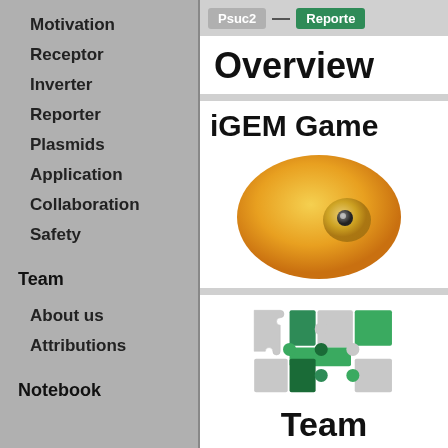Motivation
Receptor
Inverter
Reporter
Plasmids
Application
Collaboration
Safety
Team
About us
Attributions
Notebook
[Figure (other): Navigation bar showing Psuc2 tag connected by arrow to Reporter tag (green)]
Overview
[Figure (illustration): iGEM Game section header with a golden/yellow yeast cell illustration]
[Figure (illustration): Team section with green and grey puzzle pieces logo and Team text]